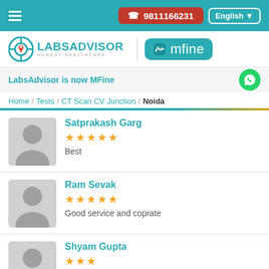☎ 9811166231 | English
[Figure (logo): LabsAdvisor Honest Healthcare logo and mfine logo]
LabsAdvisor is now MFine
Home / Tests / CT Scan CV Junction / Noida
Satprakash Garg
★★★★★
Best
Ram Sevak
★★★★★
Good service and coprate
Shyam Gupta
★★★
Good